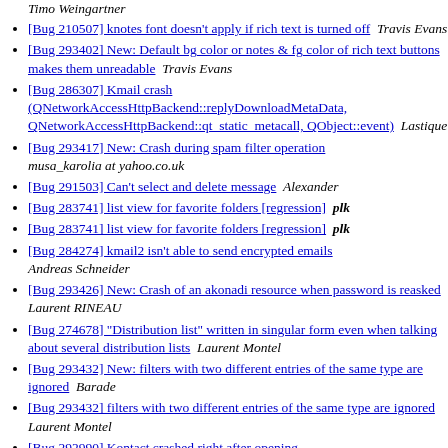Timo Weingartner
[Bug 210507] knotes font doesn't apply if rich text is turned off   Travis Evans
[Bug 293402] New: Default bg color or notes & fg color of rich text buttons makes them unreadable   Travis Evans
[Bug 286307] Kmail crash (QNetworkAccessHttpBackend::replyDownloadMetaData, QNetworkAccessHttpBackend::qt_static_metacall, QObject::event)   Lastique
[Bug 293417] New: Crash during spam filter operation   musa_karolia at yahoo.co.uk
[Bug 291503] Can't select and delete message   Alexander
[Bug 283741] list view for favorite folders [regression]   plk
[Bug 283741] list view for favorite folders [regression]   plk
[Bug 284274] kmail2 isn't able to send encrypted emails   Andreas Schneider
[Bug 293426] New: Crash of an akonadi resource when password is reasked   Laurent RINEAU
[Bug 274678] "Distribution list" written in singular form even when talking about several distribution lists   Laurent Montel
[Bug 293432] New: filters with two different entries of the same type are ignored   Barade
[Bug 293432] filters with two different entries of the same type are ignored   Laurent Montel
[Bug 292990] Kontact crashed right after opening